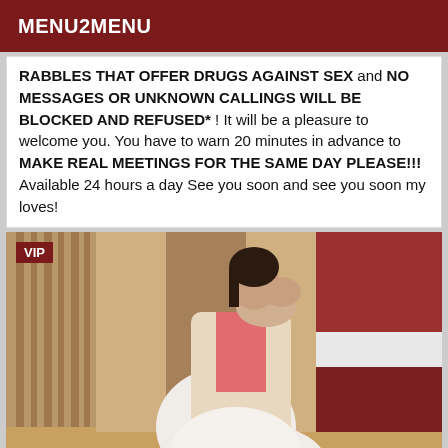MENU2MENU
RABBLES THAT OFFER DRUGS AGAINST SEX and NO MESSAGES OR UNKNOWN CALLINGS WILL BE BLOCKED AND REFUSED* ! It will be a pleasure to welcome you. You have to warn 20 minutes in advance to MAKE REAL MEETINGS FOR THE SAME DAY PLEASE!!! Available 24 hours a day See you soon and see you soon my loves!
[Figure (photo): A person photographed from behind in a bedroom, wearing white leggings, with a 'VIP' badge overlay in the top-left corner.]